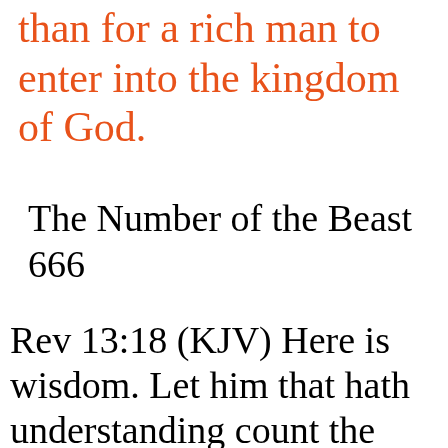than for a rich man to enter into the kingdom of God.
The Number of the Beast 666
Rev 13:18 (KJV) Here is wisdom. Let him that hath understanding count the number of the beast: for it is the number